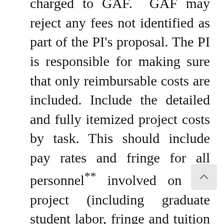charged to GAF. GAF may reject any fees not identified as part of the PI's proposal. The PI is responsible for making sure that only reimbursable costs are included. Include the detailed and fully itemized project costs by task. This should include pay rates and fringe for all personnel** involved on the project (including graduate student labor, fringe and tuition as required). Proposers should include any items that are affiliated as part of the project (site to site travel, publication costs, conference travel, etc.). Justification for all capital expenses (e.g. computers, lab equipment, etc.) should be included and will be approved solely at the discretion of GAF.